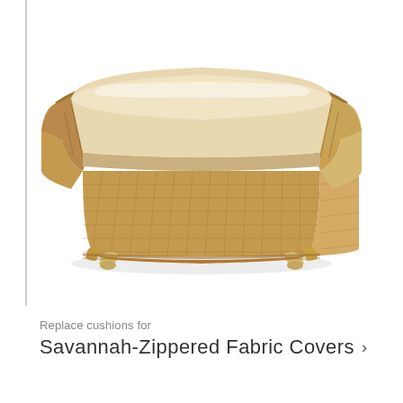[Figure (photo): A wicker/rattan ottoman with a cream/off-white cushion on top, shown at a slight angle. The ottoman has a natural honey-colored woven body with decorative braided trim along the edges, curved legs, and an upholstered seat cushion. White background product photo.]
Replace cushions for
Savannah-Zippered Fabric Covers ›